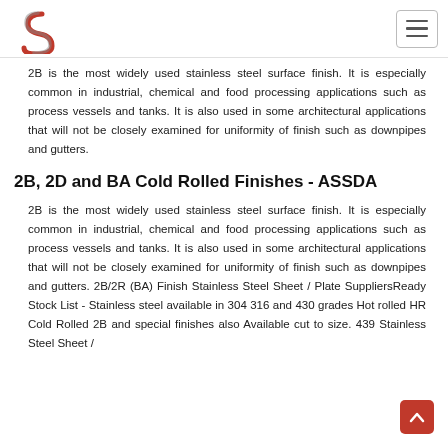2B is the most widely used stainless steel surface finish. It is especially common in industrial, chemical and food processing applications such as process vessels and tanks. It is also used in some architectural applications that will not be closely examined for uniformity of finish such as downpipes and gutters.
2B, 2D and BA Cold Rolled Finishes - ASSDA
2B is the most widely used stainless steel surface finish. It is especially common in industrial, chemical and food processing applications such as process vessels and tanks. It is also used in some architectural applications that will not be closely examined for uniformity of finish such as downpipes and gutters. 2B/2R (BA) Finish Stainless Steel Sheet / Plate SuppliersReady Stock List - Stainless steel available in 304 316 and 430 grades Hot rolled HR Cold Rolled 2B and special finishes also Available cut to size. 439 Stainless Steel Sheet /